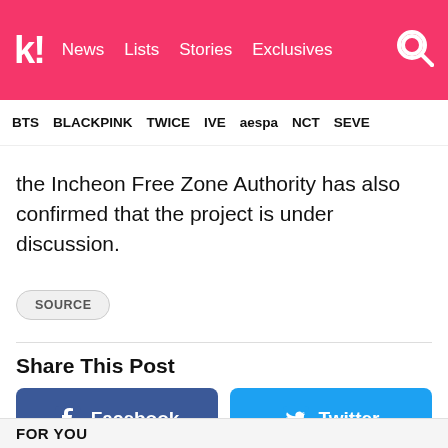k! News Lists Stories Exclusives
BTS BLACKPINK TWICE IVE aespa NCT SEVE
the Incheon Free Zone Authority has also confirmed that the project is under discussion.
SOURCE
Share This Post
Facebook
Twitter
FOR YOU